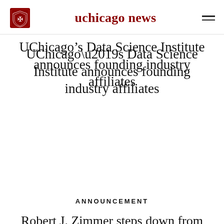uchicago news
UChicago’s Data Science Institute announces founding industry affiliates
ANNOUNCEMENT
Robert J. Zimmer steps down from position as University of Chicago chancellor